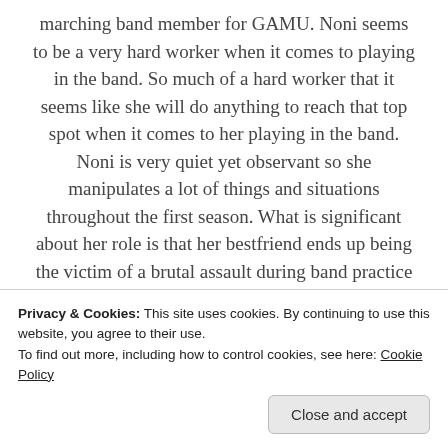marching band member for GAMU. Noni seems to be a very hard worker when it comes to playing in the band. So much of a hard worker that it seems like she will do anything to reach that top spot when it comes to her playing in the band. Noni is very quiet yet observant so she manipulates a lot of things and situations throughout the first season. What is significant about her role is that her bestfriend ends up being the victim of a brutal assault during band practice after obtaining a very prestigious position in the band even though she had only been a freshman student for a couple
Privacy & Cookies: This site uses cookies. By continuing to use this website, you agree to their use.
To find out more, including how to control cookies, see here: Cookie Policy